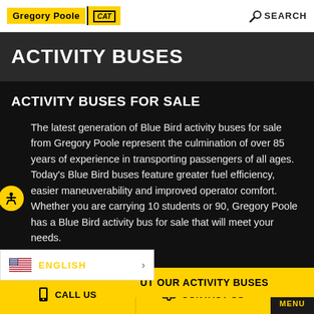Gregory Poole CAT | SEARCH
ACTIVITY BUSES
ACTIVITY BUSES FOR SALE
The latest generation of Blue Bird activity buses for sale from Gregory Poole represent the culmination of over 85 years of experience in transporting passengers of all ages. Today's Blue Bird buses feature greater fuel efficiency, easier maneuverability and improved operator comfort. Whether you are carrying 10 students or 90, Gregory Poole has a Blue Bird activity bus for sale that will meet your needs.
ENGLISH
UT OUR ACTIVITY BUSES
CALL US | CONTACT US | MENU